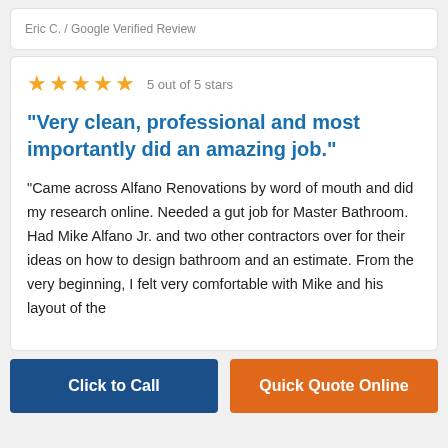Eric C. / Google Verified Review
5 out of 5 stars
"Very clean, professional and most importantly did an amazing job."
"Came across Alfano Renovations by word of mouth and did my research online. Needed a gut job for Master Bathroom. Had Mike Alfano Jr. and two other contractors over for their ideas on how to design bathroom and an estimate. From the very beginning, I felt very comfortable with Mike and his layout of the
Click to Call
Quick Quote Online